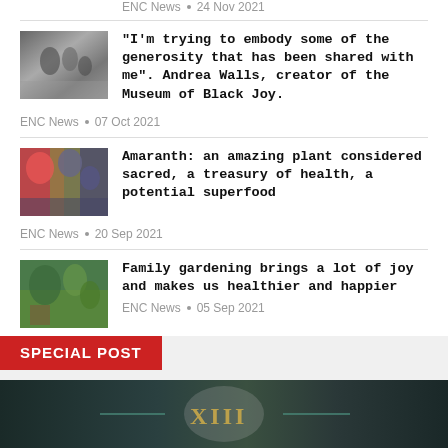ENC News . 24 Nov 2021
[Figure (photo): Black and white photo of people]
“I’m trying to embody some of the generosity that has been shared with me”. Andrea Walls, creator of the Museum of Black Joy.
ENC News . 07 Oct 2021
[Figure (photo): Photo of colorful flowers, amaranth plants]
Amaranth: an amazing plant considered sacred, a treasury of health, a potential superfood
ENC News . 20 Sep 2021
[Figure (photo): Photo of family gardening outdoors]
Family gardening brings a lot of joy and makes us healthier and happier
ENC News . 05 Sep 2021
SPECIAL POST
[Figure (photo): Dark banner image with roman numerals XIII and teal accents]